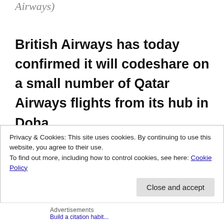Airways)
British Airways has today confirmed it will codeshare on a small number of Qatar Airways flights from its hub in Doha.
These are flights to Karachi, Peshawar,
[truncated line]
Privacy & Cookies: This site uses cookies. By continuing to use this website, you agree to their use.
To find out more, including how to control cookies, see here: Cookie Policy
Close and accept
Advertisements